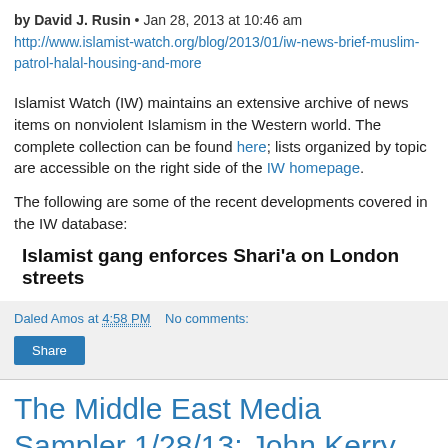by David J. Rusin • Jan 28, 2013 at 10:46 am
http://www.islamist-watch.org/blog/2013/01/iw-news-brief-muslim-patrol-halal-housing-and-more
Islamist Watch (IW) maintains an extensive archive of news items on nonviolent Islamism in the Western world. The complete collection can be found here; lists organized by topic are accessible on the right side of the IW homepage.
The following are some of the recent developments covered in the IW database:
Islamist gang enforces Shari'a on London streets
Daled Amos at 4:58 PM   No comments:
Share
The Middle East Media Sampler 1/28/13: John Kerry Gives A Pass To Morsi's Antisemitism